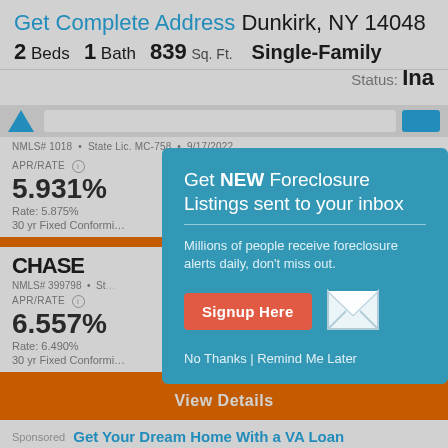Get Complete Address Dunkirk, NY 14048
2 Beds  1 Bath  839 Sq. Ft.  Single-Family  Status: Ina…
[Figure (screenshot): Browser navigation bar with logo triangle, search field, and blue button]
NMLS# 1018 • State Lic. MC-758 • 9/17/2022
APR/RATE ℹ  5.931%  Rate: 5.875%  30 yr Fixed Conforming
MO. PAYMENT ℹ  $1,183  Fees: $1,195
CHASE  NMLS# 399798 • St…
APR/RATE ℹ  6.557%  Rate: 6.490%  30 yr Fixed Conforming
View Details
Sponsored  Get Your Dream Home With a VA Loan
Get NEW Foreclosure Listings sent to your inbox
Millions of people receive foreclosure alerts daily, don't miss out.
Signup Here
No Thanks | Remind Me Later